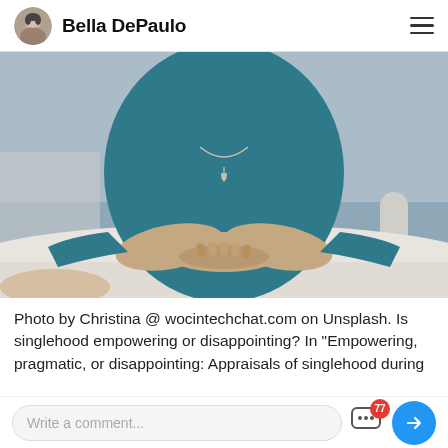Bella DePaulo
[Figure (photo): Woman in teal/blue top with heart necklace, hands clasped on white table, viewed from chest down. Blurred background suggests office or meeting setting.]
Photo by Christina @ wocintechchat.com on Unsplash. Is singlehood empowering or disappointing? In “Empowering, pragmatic, or disappointing: Appraisals of singlehood during
Write a comment... | 77 comments